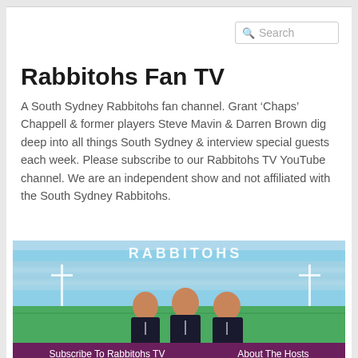Rabbitohs Fan TV
A South Sydney Rabbitohs fan channel. Grant ‘Chaps’ Chappell & former players Steve Mavin & Darren Brown dig deep into all things South Sydney & interview special guests each week. Please subscribe to our Rabbitohs TV YouTube channel. We are an independent show and not affiliated with the South Sydney Rabbitohs.
[Figure (photo): Three men in dark polo shirts standing on a rugby league field at a stadium with 'RABBITOHS' written on the stand behind them.]
Subscribe To Rabbitohs TV   About The Hosts